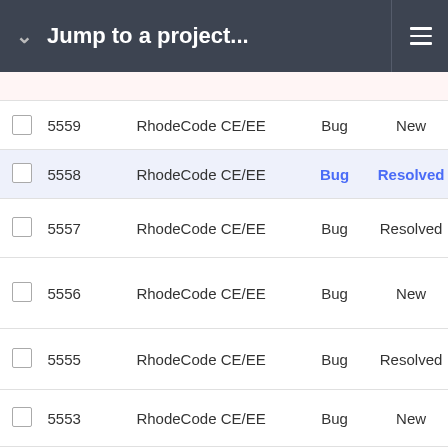Jump to a project...
|  | # | Project | Type | Status |
| --- | --- | --- | --- | --- |
|  |  |  |  |  |
| ☐ | 5559 | RhodeCode CE/EE | Bug | New |
| ☐ | 5558 | RhodeCode CE/EE | Bug | Resolved |
| ☐ | 5557 | RhodeCode CE/EE | Bug | Resolved |
| ☐ | 5556 | RhodeCode CE/EE | Bug | New |
| ☐ | 5555 | RhodeCode CE/EE | Bug | Resolved |
| ☐ | 5553 | RhodeCode CE/EE | Bug | New |
| ☐ | 5551 | Documentation | Bug | New |
| ☐ | 5550 | RhodeCode CE/EE | Bug | New |